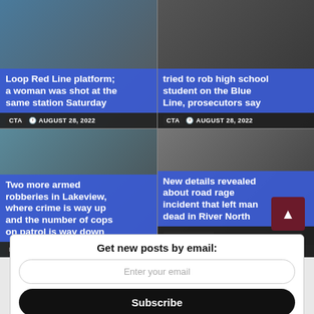[Figure (screenshot): News card: Loop Red Line platform shooting story, CTA tag, August 28 2022]
Loop Red Line platform; a woman was shot at the same station Saturday
CTA · AUGUST 28, 2022
[Figure (screenshot): News card: robbery on Blue Line story, CTA tag, August 28 2022]
tried to rob high school student on the Blue Line, prosecutors say
CTA · AUGUST 28, 2022
[Figure (screenshot): News card: Two more armed robberies in Lakeview story, Lakeview tag, August 28 2022]
Two more armed robberies in Lakeview, where crime is way up and the number of cops on patrol is way down
LAKEVIEW · AUGUST 28, 2022
[Figure (screenshot): News card: New details about road rage incident in River North, River North tag, August 27 2022]
New details revealed about road rage incident that left man dead in River North
RIVER NORTH · AUGUST 27, 2022
Get new posts by email:
Enter your email
Subscribe